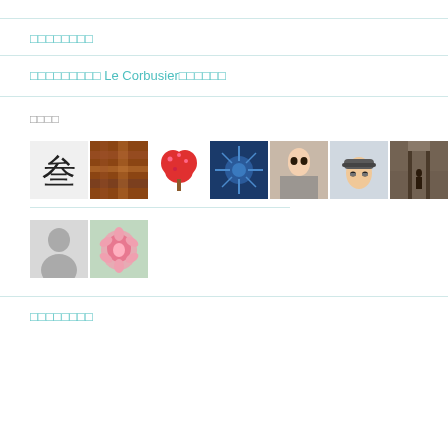□□□□□□□□
□□□□□□□□□ Le Corbusier□□□□□□
□□□□
[Figure (photo): A horizontal strip of 7 small photos: Chinese character, food close-up, heart-shaped tree, spiky blue object, woman portrait, man with cap and glasses, ornate interior hallway]
[Figure (photo): Two small avatar images: a grey silhouette person icon and a pink flower photo]
□□□□□□□□